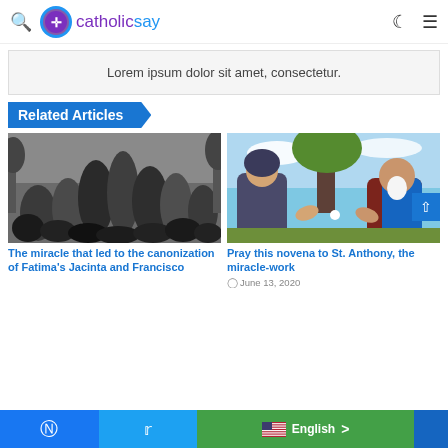catholicsay
Lorem ipsum dolor sit amet, consectetur.
Related Articles
[Figure (photo): Black and white historical photograph of a crowd of people kneeling and looking upward outdoors]
The miracle that led to the canonization of Fatima's Jacinta and Francisco
[Figure (illustration): Colorful painting of religious figures including saints in a natural outdoor setting]
Pray this novena to St. Anthony, the miracle-work
June 13, 2020
Facebook  Twitter  English